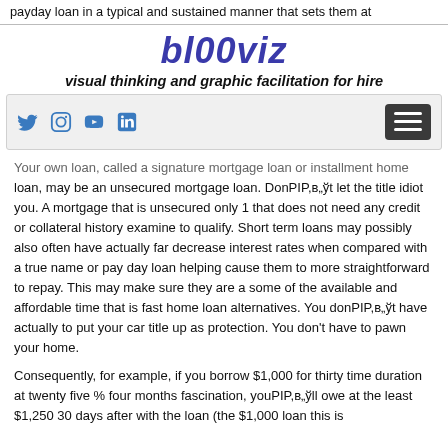payday loan in a typical and sustained manner that sets them at
bl00viz
visual thinking and graphic facilitation for hire
[Figure (screenshot): Navigation bar with social media icons (Twitter, Instagram, YouTube, LinkedIn) on the left and a hamburger menu button on the right, on a light gray background.]
Your own loan, called a signature mortgage loan or installment home loan, may be an unsecured mortgage loan. DonPIP,в„ўt let the title idiot you. A mortgage that is unsecured only 1 that does not need any credit or collateral history examine to qualify. Short term loans may possibly also often have actually far decrease interest rates when compared with a true name or pay day loan helping cause them to more straightforward to repay. This may make sure they are a some of the available and affordable time that is fast home loan alternatives. You donPIP,в„ўt have actually to put your car title up as protection. You don't have to pawn your home.
Consequently, for example, if you borrow $1,000 for thirty time duration at twenty five % four months fascination, youPIP,в„ўll owe at the least $1,250 30 days after with the loan (the $1,000 loan this is